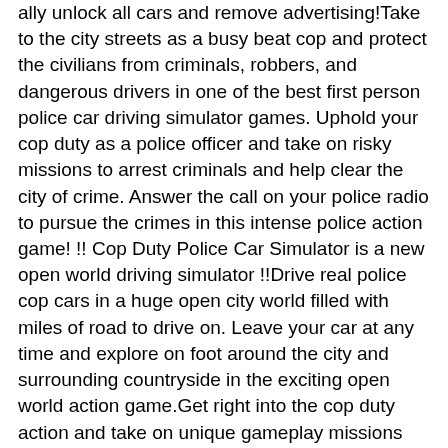ally unlock all cars and remove advertising!Take to the city streets as a busy beat cop and protect the civilians from criminals, robbers, and dangerous drivers in one of the best first person police car driving simulator games. Uphold your cop duty as a police officer and take on risky missions to arrest criminals and help clear the city of crime. Answer the call on your police radio to pursue the crimes in this intense police action game! !! Cop Duty Police Car Simulator is a new open world driving simulator !!Drive real police cop cars in a huge open city world filled with miles of road to drive on. Leave your car at any time and explore on foot around the city and surrounding countryside in the exciting open world action game.Get right into the cop duty action and take on unique gameplay missions like vehicle takedowns, hostage situations, vehicle escorts, drug busts, and more. The all-new exciting police crime-fighting action you've been looking for is ready now!Example of missions:- Help victims in hostage situations- Purse and arrest the criminal drivers- Take on dangerous crime hideouts- Protect and escort